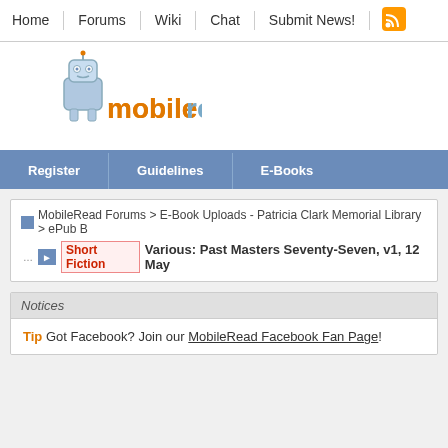Home | Forums | Wiki | Chat | Submit News!
[Figure (logo): MobileRead logo with robot character and orange/blue text]
Register | Guidelines | E-Books
MobileRead Forums > E-Book Uploads - Patricia Clark Memorial Library > ePub B...
Short Fiction  Various: Past Masters Seventy-Seven, v1, 12 May...
Notices
Tip  Got Facebook? Join our MobileRead Facebook Fan Page!